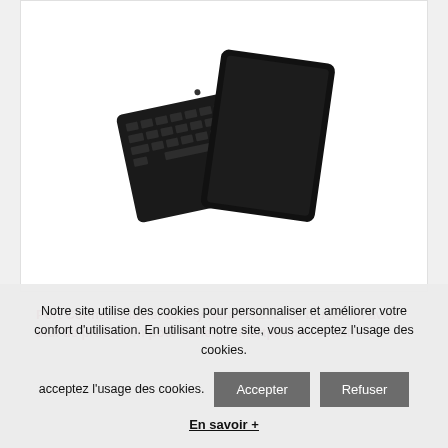[Figure (photo): Product photo of a black Bluetooth keyboard with a protective cover/case, shown at an angle on a white background]
Port Connect clavier azerty ultra fin 202418 bluetooth avec étui de protection pour tablette smartphones et autres
Notre site utilise des cookies pour personnaliser et améliorer votre confort d'utilisation. En utilisant notre site, vous acceptez l'usage des cookies.
En savoir +